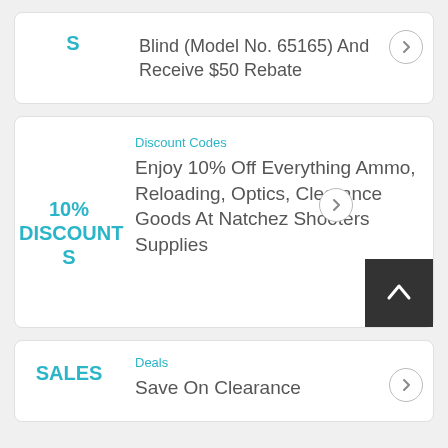S
Blind (Model No. 65165) And Receive $50 Rebate
Discount Codes
10% DISCOUNTS
Enjoy 10% Off Everything Ammo, Reloading, Optics, Clearance Goods At Natchez Shooters Supplies
Deals
SALES
Save On Clearance